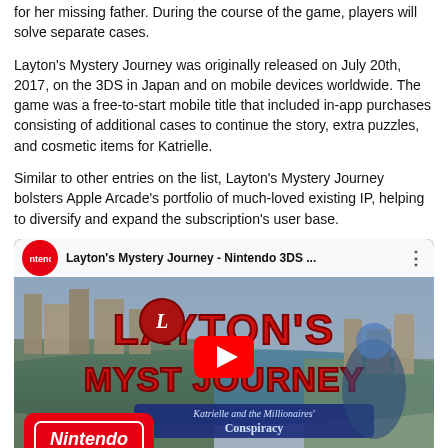for her missing father. During the course of the game, players will solve separate cases.
Layton's Mystery Journey was originally released on July 20th, 2017, on the 3DS in Japan and on mobile devices worldwide. The game was a free-to-start mobile title that included in-app purchases consisting of additional cases to continue the story, extra puzzles, and cosmetic items for Katrielle.
Similar to other entries on the list, Layton's Mystery Journey bolsters Apple Arcade's portfolio of much-loved existing IP, helping to diversify and expand the subscription's user base.
[Figure (screenshot): YouTube video thumbnail for Layton's Mystery Journey - Nintendo 3DS trailer, showing a scenic aerial view of a European city with the game logo and characters, with a red YouTube play button overlay and Nintendo badge in the bottom left.]